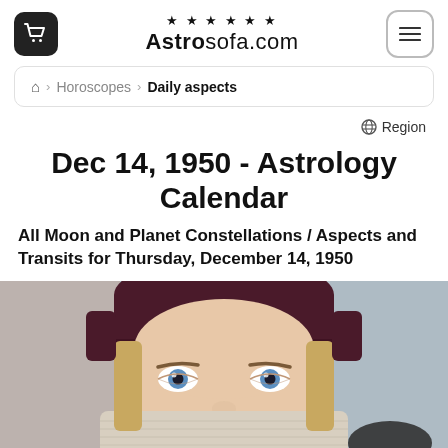Astrosofa.com
Horoscopes > Daily aspects
Region
Dec 14, 1950 - Astrology Calendar
All Moon and Planet Constellations / Aspects and Transits for Thursday, December 14, 1950
[Figure (photo): Close-up photo of a young woman with blue eyes wearing a dark burgundy knit beanie hat and a light-colored winter scarf pulled up over her nose and mouth]